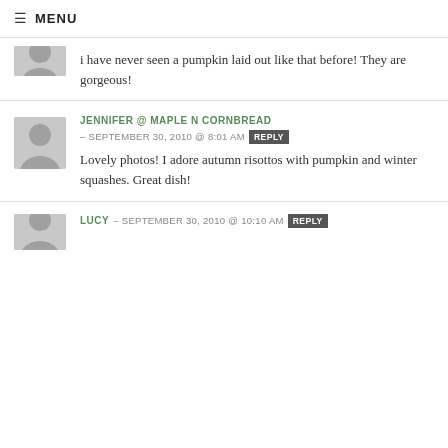≡ MENU
i have never seen a pumpkin laid out like that before! They are gorgeous!
JENNIFER @ MAPLE N CORNBREAD – SEPTEMBER 30, 2010 @ 8:01 AM REPLY
Lovely photos! I adore autumn risottos with pumpkin and winter squashes. Great dish!
LUCY – SEPTEMBER 30, 2010 @ 10:10 AM REPLY